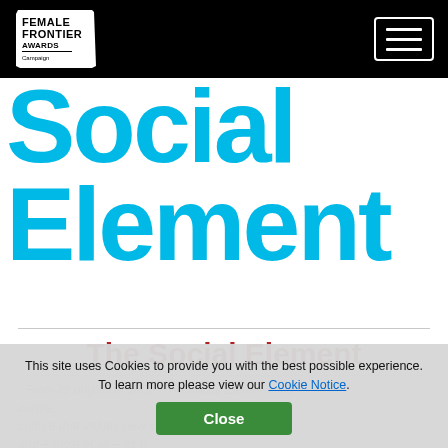Female Frontier Awards — navigation header with hamburger menu
Social Element
The Social Element
From its origins in 2002, The Social Element has curate… culture that values new ideas – ways of thinking and – most of all - its p… Not only for businesses, but to
This site uses Cookies to provide you with the best possible experience. To learn more please view our Cookie Notice. Close